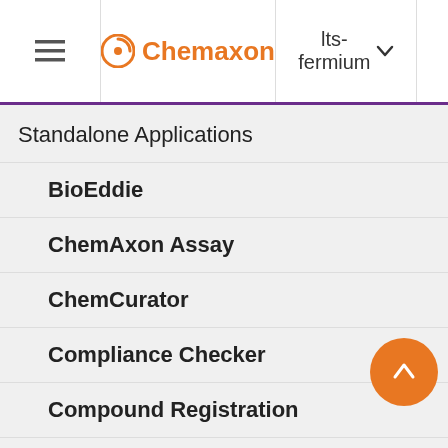Chemaxon — lts-fermium
Standalone Applications
BioEddie
ChemAxon Assay
ChemCurator
Compliance Checker
Compound Registration
Instant JChem
Instant Jchem User Guide
Getting Started
in a databa colum Situ where adding an index will be benefi not)